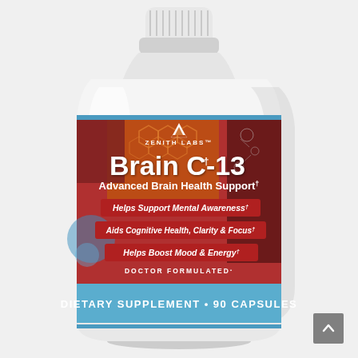[Figure (illustration): Product photo of Brain C-13 dietary supplement bottle by Zenith Labs. White plastic bottle with blue label band. Label shows: ZENITH LABS logo with mountain icon, product name 'Brain C-13†', 'Advanced Brain Health Support†', three red bullet banners: 'Helps Support Mental Awareness†', 'Aids Cognitive Health, Clarity & Focus†', 'Helps Boost Mood & Energy†', 'DOCTOR FORMULATED', 'DIETARY SUPPLEMENT • 90 CAPSULES'. Background of label has honeycomb/molecular graphics in orange/red tones.]
[Figure (other): Gray scroll-to-top button with upward arrow icon in bottom right corner]